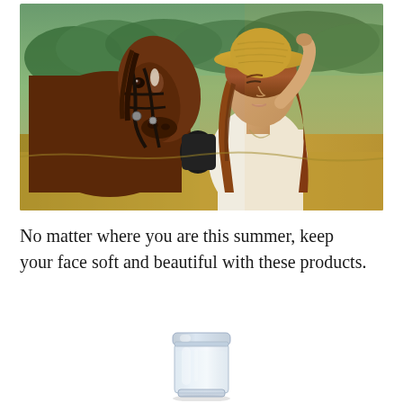[Figure (photo): A young woman with long auburn hair and a straw hat stands beside a brown horse in an outdoor field setting. She is wearing a white top and gloves, holding the horse's bridle, with green trees in the background.]
No matter where you are this summer, keep your face soft and beautiful with these products.
[Figure (photo): A clear glass or plastic cylindrical product container, appears to be a skincare or beauty product jar, viewed from a slight angle showing its transparent body and lid.]